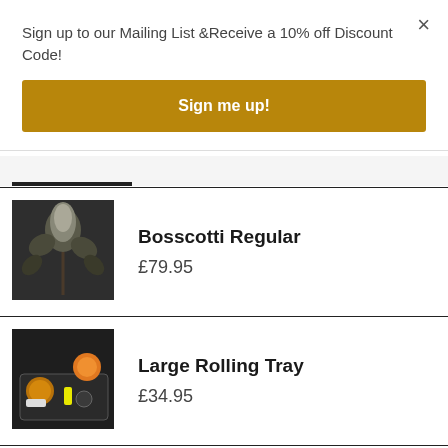Sign up to our Mailing List &Receive a 10% off Discount Code!
Sign me up!
×
Bosscotti Regular
£79.95
[Figure (photo): Cannabis plant with dense white flowers under grow light]
Large Rolling Tray
£34.95
[Figure (photo): Rolling tray with grinder, lighter, and accessories on dark surface]
Mokum's Tulip
[Figure (photo): Cannabis plant with light green color, partially visible]